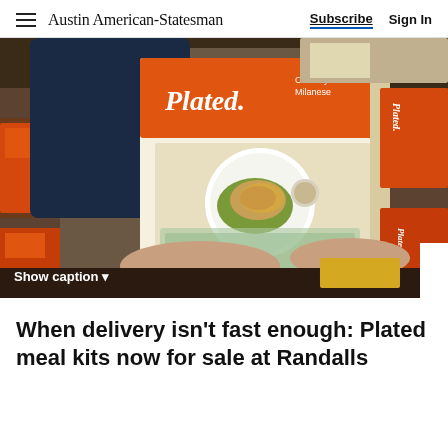Austin American-Statesman | Subscribe | Sign In
[Figure (photo): Person holding a Plated meal kit box (Crunchy Chicken Milanese) in front of grocery store shelves stocked with Plated meal kit boxes]
Show caption
When delivery isn't fast enough: Plated meal kits now for sale at Randalls